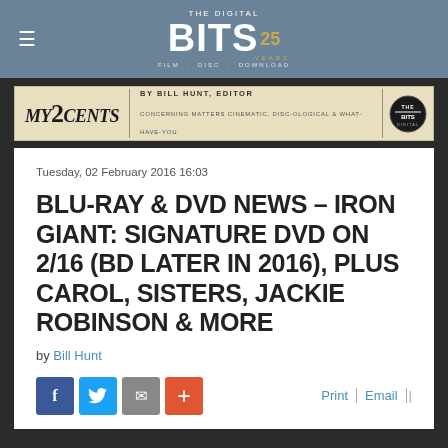THE DIGITAL BITS 25 YEARS — FILM · DISC · DOWNLOAD
[Figure (logo): My 2 Cents banner — by Bill Hunt, Editor — Concerning matters cinematic, disc-ological & what-have-you]
Tuesday, 02 February 2016 16:03
BLU-RAY & DVD NEWS – IRON GIANT: SIGNATURE DVD ON 2/16 (BD LATER IN 2016), PLUS CAROL, SISTERS, JACKIE ROBINSON & MORE
by Bill Hunt